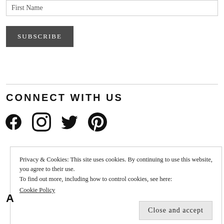First Name
SUBSCRIBE
CONNECT WITH US
[Figure (illustration): Social media icons: Facebook, Instagram, Twitter, Pinterest]
Privacy & Cookies: This site uses cookies. By continuing to use this website, you agree to their use. To find out more, including how to control cookies, see here: Cookie Policy
Close and accept
A